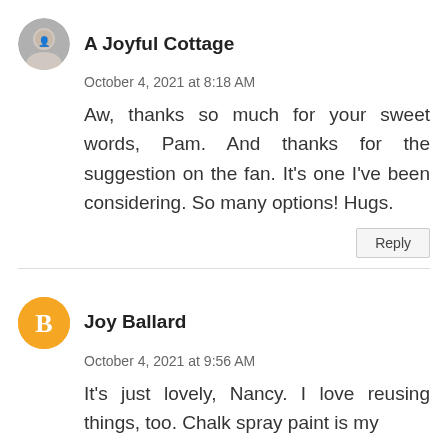A Joyful Cottage
October 4, 2021 at 8:18 AM
Aw, thanks so much for your sweet words, Pam. And thanks for the suggestion on the fan. It's one I've been considering. So many options! Hugs.
Joy Ballard
October 4, 2021 at 9:56 AM
It's just lovely, Nancy. I love reusing things, too. Chalk spray paint is my